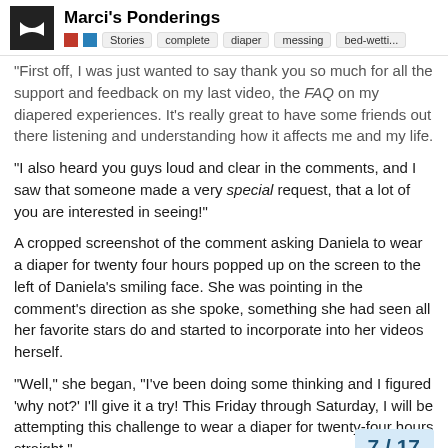Marci's Ponderings — Stories, complete, diaper, messing, bed-wetti...
"First off, I was just wanted to say thank you so much for all the support and feedback on my last video, the FAQ on my diapered experiences. It's really great to have some friends out there listening and understanding how it affects me and my life.
"I also heard you guys loud and clear in the comments, and I saw that someone made a very special request, that a lot of you are interested in seeing!"
A cropped screenshot of the comment asking Daniela to wear a diaper for twenty four hours popped up on the screen to the left of Daniela's smiling face. She was pointing in the comment's direction as she spoke, something she had seen all her favorite stars do and started to incorporate into her videos herself.
"Well," she began, "I've been doing some thinking and I figured 'why not?' I'll give it a try! This Friday through Saturday, I will be attempting this challenge to wear a diaper for twenty-four hours straight."
A anticipation determination of both and below